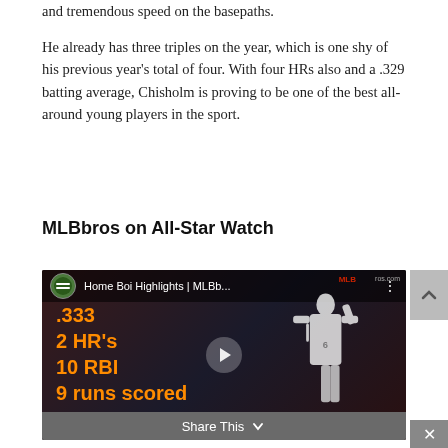and tremendous speed on the basepaths.
He already has three triples on the year, which is one shy of his previous year's total of four. With four HRs also and a .329 batting average, Chisholm is proving to be one of the best all-around young players in the sport.
MLBbros on All-Star Watch
[Figure (screenshot): Video thumbnail showing a baseball player in a Washington uniform with orange stats overlay: .333, 2 HR's, 10 RBI, 9 runs scored. Title bar reads 'Home Boi Highlights | MLBb...' with MLBbros logo. Share This bar at the bottom.]